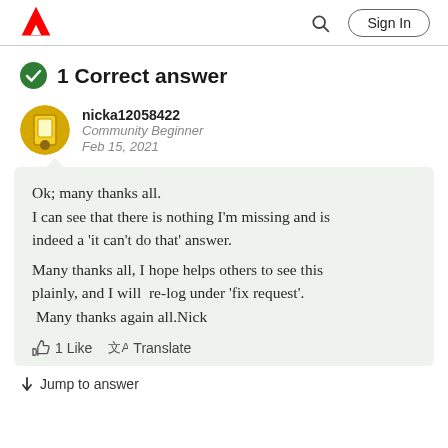Adobe community page header with logo, search icon, and Sign In button
1 Correct answer
nicka12058422
Community Beginner
Feb 15, 2021
Ok; many thanks all.
I can see that there is nothing I'm missing and is indeed a 'it can't do that' answer.

Many thanks all, I hope helps others to see this plainly, and I will re-log under 'fix request'.
Many thanks again all.Nick
1 Like   Translate
Jump to answer